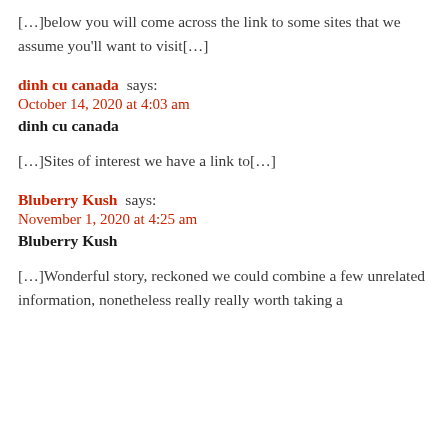[…]below you will come across the link to some sites that we assume you'll want to visit[…]
dinh cu canada says:
October 14, 2020 at 4:03 am
dinh cu canada
[…]Sites of interest we have a link to[…]
Bluberry Kush says:
November 1, 2020 at 4:25 am
Bluberry Kush
[…]Wonderful story, reckoned we could combine a few unrelated information, nonetheless really really worth taking a